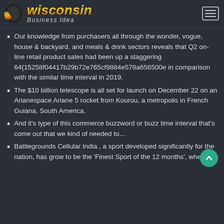Wisconsin Business Idea
Our knowledge from purchasers all through the wonder, vogue, house & backyard, and meals & drink sectors reveals that Q2 on-line retail product sales had been up a staggering 64{15258f04417b29b72e765cf9884e578a656500e in comparison with the similar time interval in 2019.
The $10 billion telescope is all set for launch on December 22 on an Arianespace Ariane 5 rocket from Kourou, a metropolis in French Guiana, South America.
And it's type of this commerce buzzword or buzz time interval that's come out that we kind of needed to…
Battlegrounds Cellular India , a sport developed significantly for the nation, has grow to be the 'Finest Sport of the 12 months', whereas